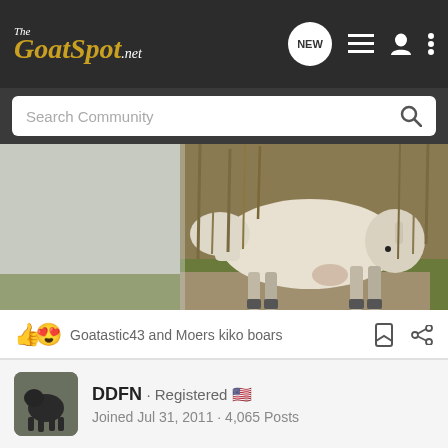The GoatSpot.net
Search Community
[Figure (photo): A pale cream/white goat photographed outdoors in a grassy field with tall brown reeds in the background, viewed from the rear side.]
Goatastic43 and Moers kiko boars
DDFN · Registered 🇺🇸
Joined Jul 31, 2011 · 4,065 Posts
#52 · Jun 10, 2022